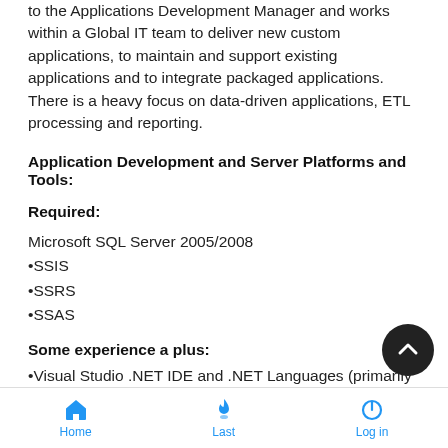The Business Systems, Business Intelligence Developer reports to the Applications Development Manager and works within a Global IT team to deliver new custom applications, to maintain and support existing applications and to integrate packaged applications. There is a heavy focus on data-driven applications, ETL processing and reporting.
Application Development and Server Platforms and Tools:
Required:
Microsoft SQL Server 2005/2008
•SSIS
•SSRS
•SSAS
Some experience a plus:
•Visual Studio .NET IDE and .NET Languages (primarily C# and